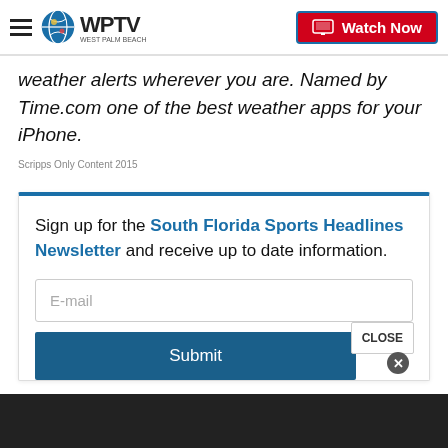WPTV West Palm Beach — Watch Now
weather alerts wherever you are. Named by Time.com one of the best weather apps for your iPhone.
Scripps Only Content 2015
Sign up for the South Florida Sports Headlines Newsletter and receive up to date information.
E-mail
Submit
CLOSE